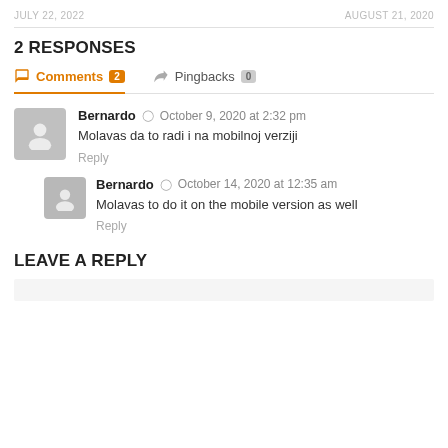JULY 22, 2022    AUGUST 21, 2020
2 RESPONSES
Comments 2   Pingbacks 0
Bernardo   October 9, 2020 at 2:32 pm
Molavas da to radi i na mobilnoj verziji
Reply
Bernardo   October 14, 2020 at 12:35 am
Molavas to do it on the mobile version as well
Reply
LEAVE A REPLY